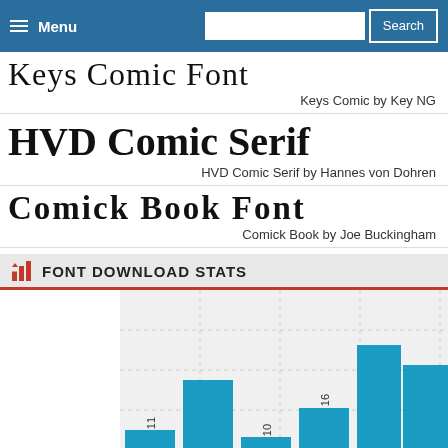Menu | Search
Keys Comic Font
Keys Comic by Key NG
HVD Comic Serif
HVD Comic Serif by Hannes von Dohren
Comick Book Font
Comick Book by Joe Buckingham
FONT DOWNLOAD STATS
[Figure (bar-chart): Font Download Stats]